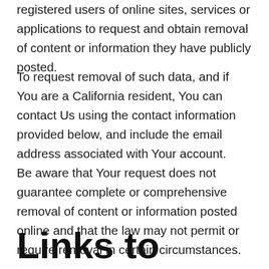registered users of online sites, services or applications to request and obtain removal of content or information they have publicly posted.
To request removal of such data, and if You are a California resident, You can contact Us using the contact information provided below, and include the email address associated with Your account.
Be aware that Your request does not guarantee complete or comprehensive removal of content or information posted online and that the law may not permit or require removal in certain circumstances.
Links to Other Websites